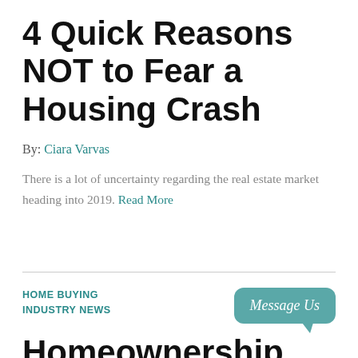4 Quick Reasons NOT to Fear a Housing Crash
By: Ciara Varvas
There is a lot of uncertainty regarding the real estate market heading into 2019. Read More
HOME BUYING
INDUSTRY NEWS
[Figure (other): Teal speech bubble button with italic text 'Message Us']
Homeownership